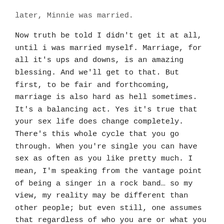later, Minnie was married. Now truth be told I didn't get it at all, until i was married myself. Marriage, for all it's ups and downs, is an amazing blessing. And we'll get to that. But first, to be fair and forthcoming, marriage is also hard as hell sometimes. It's a balancing act. Yes it's true that your sex life does change completely. There's this whole cycle that you go through. When you're single you can have sex as often as you like pretty much. I mean, I'm speaking from the vantage point of being a singer in a rock band… so my view, my reality may be different than other people; but even still, one assumes that regardless of who you are or what you do, there are always others you can find out there who will share in your desire to do whatever it is that you wish to do in life. So